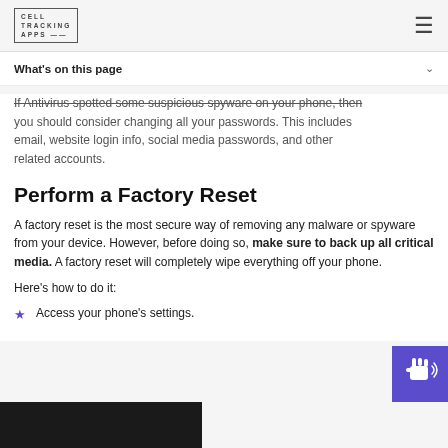CELL TRACKING APPS
What's on this page
If Antivirus spotted some suspicious spyware on your phone, then you should consider changing all your passwords. This includes email, website login info, social media passwords, and other related accounts.
Perform a Factory Reset
A factory reset is the most secure way of removing any malware or spyware from your device. However, before doing so, make sure to back up all critical media. A factory reset will completely wipe everything off your phone.
Here's how to do it:
Access your phone's settings.